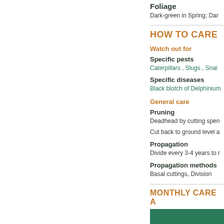Foliage
Dark-green in Spring; Dar
HOW TO CARE
Watch out for
Specific pests
Caterpillars , Slugs , Snai
Specific diseases
Black blotch of Delphinium
General care
Pruning
Deadhead by cutting spen
Cut back to ground level a
Propagation
Divide every 3-4 years to r
Propagation methods
Basal cuttings, Division
MONTHLY CARE A